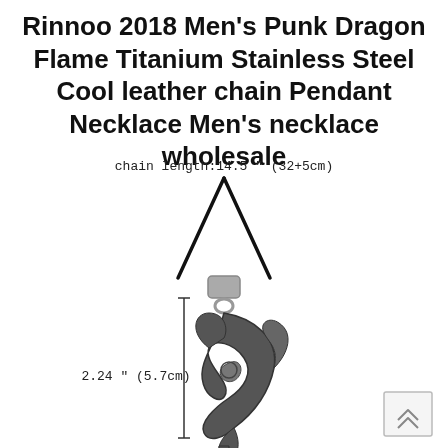Rinnoo 2018 Men's Punk Dragon Flame Titanium Stainless Steel Cool leather chain Pendant Necklace Men's necklace wholesale
[Figure (photo): Product photo of a punk dragon flame pendant necklace on a black leather cord. The pendant is silver-toned stainless steel with a swirling dragon flame design. Annotations show chain length: 14.5" (32+5cm) and pendant height: 2.24" (5.7cm) with measurement lines. A scroll-up button is in the lower right corner.]